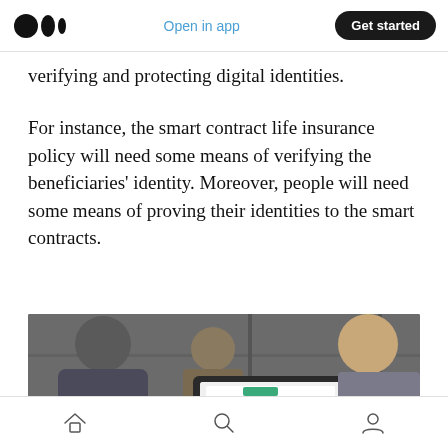Medium app header with logo, Open in app, Get started
verifying and protecting digital identities.
For instance, the smart contract life insurance policy will need some means of verifying the beneficiaries’ identity. Moreover, people will need some means of proving their identities to the smart contracts.
[Figure (photo): People sitting at a table in an office setting with a laptop showing a green interface, coffee cups and phones on the table]
Bottom navigation bar with home, search, and profile icons